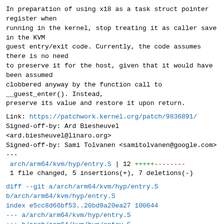In preparation of using x18 as a task struct pointer register when
running in the kernel, stop treating it as caller save in the KVM
guest entry/exit code. Currently, the code assumes there is no need
to preserve it for the host, given that it would have been assumed
clobbered anyway by the function call to __guest_enter(). Instead,
preserve its value and restore it upon return.
Link: https://patchwork.kernel.org/patch/9836891/
Signed-off-by: Ard Biesheuvel
<ard.biesheuvel@linaro.org>
Signed-off-by: Sami Tolvanen <samitolvanen@google.com>
---
 arch/arm64/kvm/hyp/entry.S | 12 +++++---------
 1 file changed, 5 insertions(+), 7 deletions(-)
diff --git a/arch/arm64/kvm/hyp/entry.S b/arch/arm64/kvm/hyp/entry.S
index e5cc8d66bf53..20bd9a20ea27 100644
--- a/arch/arm64/kvm/hyp/entry.S
+++ b/arch/arm64/kvm/hyp/entry.S
@@ -23,6 +23,7 @@
        .pushsection    .hyp.text, "ax"

 .macro save_callee_saved_regs ctxt
+       str     x18,    [ctxt, #CPU_XREG_OFFSET(18)]